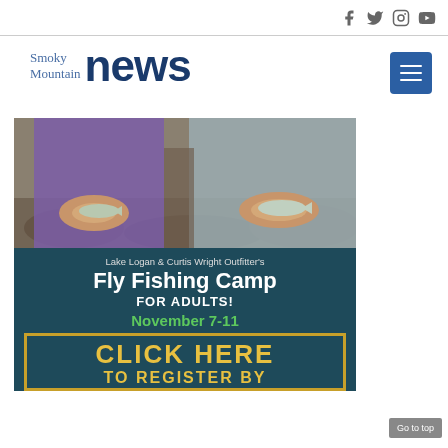Social media icons: Facebook, Twitter, Instagram, YouTube
Smoky Mountain news
[Figure (photo): Two people holding small fish (trout) in their hands by a rocky creek, one wearing a purple fleece and one in grey]
Lake Logan & Curtis Wright Outfitter's
Fly Fishing Camp
FOR ADULTS!
November 7-11
CLICK HERE TO REGISTER BY